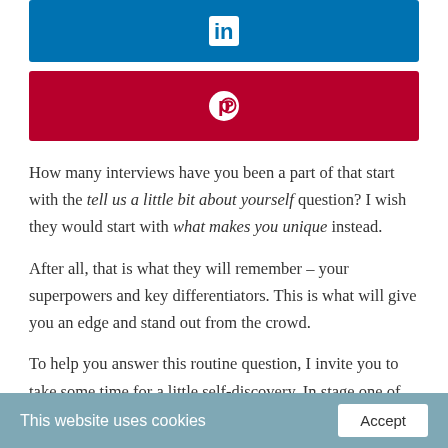[Figure (logo): LinkedIn button - blue rectangle with white LinkedIn 'in' icon]
[Figure (logo): Pinterest button - dark red rectangle with white Pinterest 'P' icon]
How many interviews have you been a part of that start with the tell us a little bit about yourself question? I wish they would start with what makes you unique instead.
After all, that is what they will remember – your superpowers and key differentiators. This is what will give you an edge and stand out from the crowd.
To help you answer this routine question, I invite you to take some time for a little self-discovery. In stage one of my 5 stages to Design Your Dream Career, we look at your mindset. We spend time narrowing down your
This website uses cookies